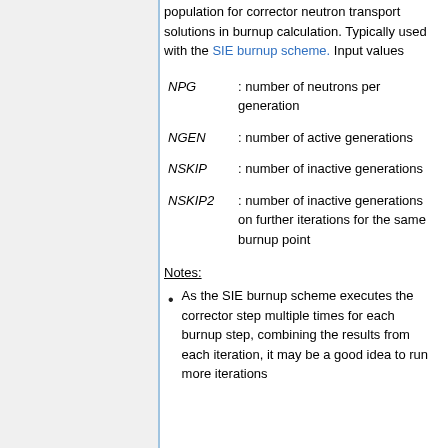population for corrector neutron transport solutions in burnup calculation. Typically used with the SIE burnup scheme. Input values
| Parameter | Description |
| --- | --- |
| NPG | : number of neutrons per generation |
| NGEN | : number of active generations |
| NSKIP | : number of inactive generations |
| NSKIP2 | : number of inactive generations on further iterations for the same burnup point |
Notes:
As the SIE burnup scheme executes the corrector step multiple times for each burnup step, combining the results from each iteration, it may be a good idea to run more iterations